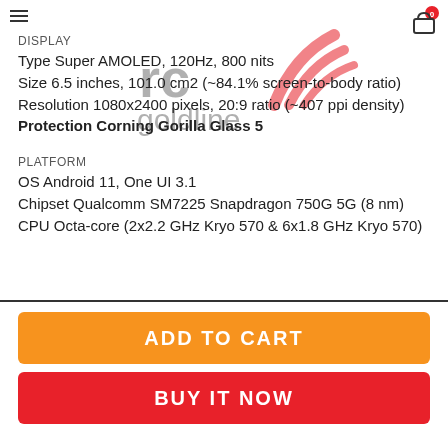DISPLAY
Type Super AMOLED, 120Hz, 800 nits
Size 6.5 inches, 101.0 cm2 (~84.1% screen-to-body ratio)
Resolution 1080x2400 pixels, 20:9 ratio (~407 ppi density)
Protection Corning Gorilla Glass 5
PLATFORM
OS Android 11, One UI 3.1
Chipset Qualcomm SM7225 Snapdragon 750G 5G (8 nm)
CPU Octa-core (2x2.2 GHz Kryo 570 & 6x1.8 GHz Kryo 570)
[Figure (logo): rc goldline watermark logo with wifi/signal icon in red and grey text]
ADD TO CART
BUY IT NOW